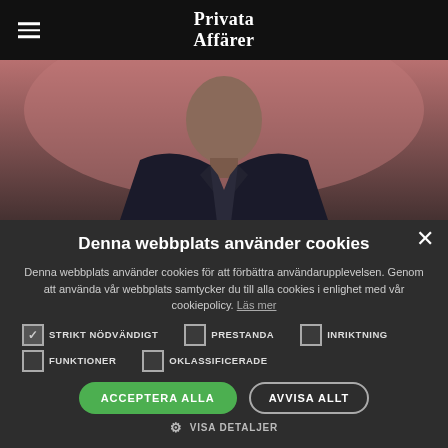Privata Affärer
[Figure (photo): Person in dark suit against pink/mauve background, upper torso visible]
Denna webbplats använder cookies
Denna webbplats använder cookies för att förbättra användarupplevelsen. Genom att använda vår webbplats samtycker du till alla cookies i enlighet med vår cookiepolicy. Läs mer
☑ STRIKT NÖDVÄNDIGT   ☐ PRESTANDA   ☐ INRIKTNING
☐ FUNKTIONER   ☐ OKLASSIFICERADE
ACCEPTERA ALLA   AVVISA ALLT
⚙ VISA DETALJER